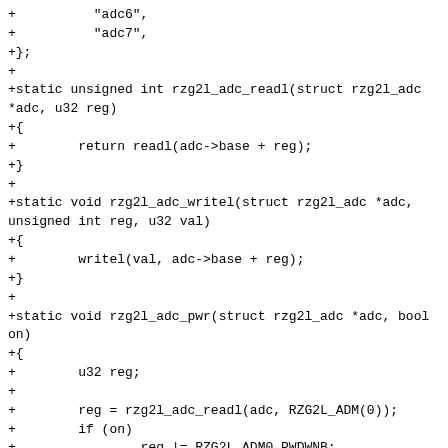+          "adc6",
+          "adc7",
+};
+
+static unsigned int rzg2l_adc_readl(struct rzg2l_adc *adc, u32 reg)
+{
+        return readl(adc->base + reg);
+}
+
+static void rzg2l_adc_writel(struct rzg2l_adc *adc, unsigned int reg, u32 val)
+{
+        writel(val, adc->base + reg);
+}
+
+static void rzg2l_adc_pwr(struct rzg2l_adc *adc, bool on)
+{
+        u32 reg;
+
+        reg = rzg2l_adc_readl(adc, RZG2L_ADM(0));
+        if (on)
+                reg |= RZG2L_ADM0_PWDWNB;
+        else
+                reg &= ~RZG2L_ADM0_PWDWNB;
+        rzg2l_adc_writel(adc, RZG2L_ADM(0), reg);
+        udelay(2);
+}
+